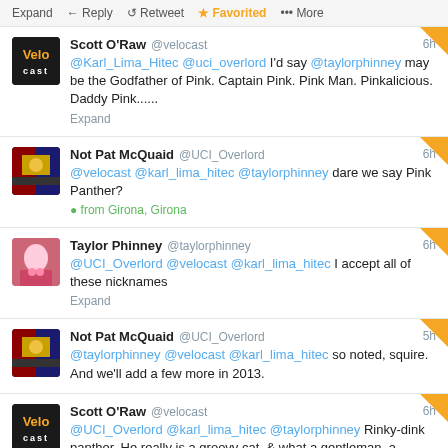Expand  Reply  Retweet  Favorited  More
Scott O'Raw @velocast 6h
@Karl_Lima_Hitec @uci_overlord I'd say @taylorphinney may be the Godfather of Pink. Captain Pink. Pink Man. Pinkalicious. Daddy Pink......
Expand
Not Pat McQuaid @UCI_Overlord 6h
@velocast @karl_lima_hitec @taylorphinney dare we say Pink Panther?
from Girona, Girona
Taylor Phinney @taylorphinney 6h
@UCI_Overlord @velocast @karl_lima_hitec I accept all of these nicknames
Expand
Not Pat McQuaid @UCI_Overlord 5h
@taylorphinney @velocast @karl_lima_hitec so noted, squire. And we'll add a few more in 2013.
Scott O'Raw @velocast 6h
@UCI_Overlord @karl_lima_hitec @taylorphinney Rinky-dink panther. He really is a groovy cat, & what a gentleman, a scholar, what an acrobat!
View conversation